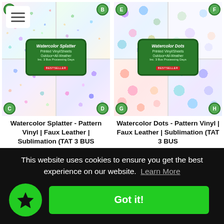[Figure (photo): Watercolor Splatter pattern product listing showing 4 quadrant samples (A, B, C, D) with colorful watercolor splatter designs on white background. Green badge label in center reads 'Watercolor Splatter Printed Vinyl/Sheets'. Hamburger menu icon visible top left.]
Watercolor Splatter - Pattern Vinyl | Faux Leather | Sublimation (TAT 3 BUS
[Figure (photo): Watercolor Dots pattern product listing showing 4 quadrant samples (E, F, G, H) with colorful watercolor dot designs on white background. Green badge label in center reads 'Watercolor Dots Printed Vinyl/Sheets'.]
Watercolor Dots - Pattern Vinyl | Faux Leather | Sublimation (TAT 3 BUS
This website uses cookies to ensure you get the best experience on our website. Learn More
Got it!